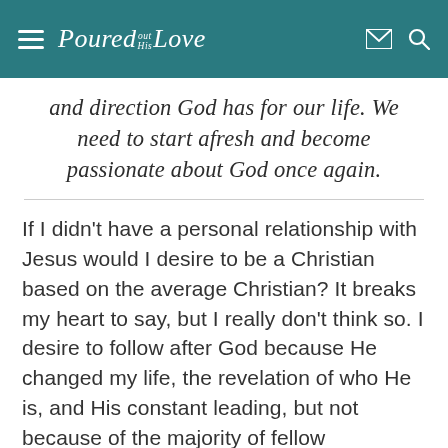Poured out His Love — navigation header
and direction God has for our life. We need to start afresh and become passionate about God once again.
If I didn't have a personal relationship with Jesus would I desire to be a Christian based on the average Christian? It breaks my heart to say, but I really don't think so. I desire to follow after God because He changed my life, the revelation of who He is, and His constant leading, but not because of the majority of fellow Christians. I have a healthy